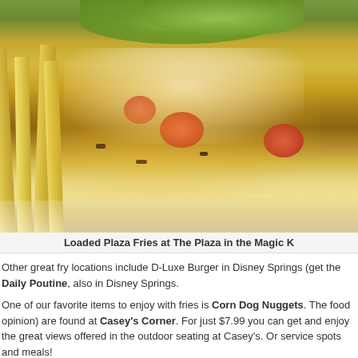[Figure (photo): Close-up photo of Loaded Plaza Fries — french fries topped with melted cheese, bacon, diced tomatoes, shredded lettuce, and white sauce/dressing on a white plate]
Loaded Plaza Fries at The Plaza in the Magic K
Other great fry locations include D-Luxe Burger in Disney Springs (get the Daily Poutine, also in Disney Springs.
One of our favorite items to enjoy with fries is Corn Dog Nuggets. The food opinion) are found at Casey's Corner. For just $7.99 you can get and enjoy the great views offered in the outdoor seating at Casey's. Or service spots and meals!
[Figure (photo): Partial photo at bottom of page, appears to show a food item]